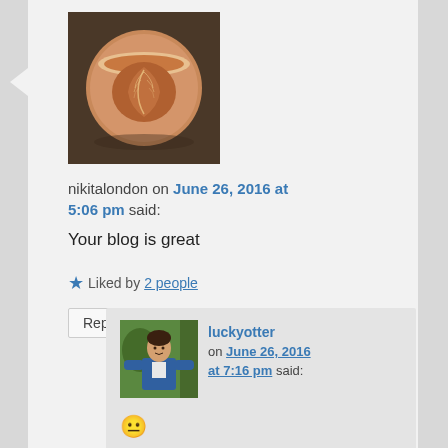[Figure (photo): Top-down photo of a latte art coffee cup on a dark surface]
nikitalondon on June 26, 2016 at 5:06 pm said:
Your blog is great
★ Liked by 2 people
Reply ↓
[Figure (photo): Person standing outdoors in a blue jacket]
luckyotter on June 26, 2016 at 7:16 pm said:
😐
★ Liked by 1 person